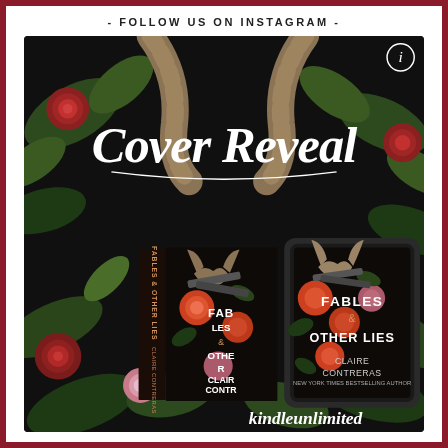- FOLLOW US ON INSTAGRAM -
[Figure (illustration): Cover reveal promotional image for 'Fables & Other Lies' by Claire Contreras. Dark floral background with roses and botanical elements. Shows a physical book and a tablet/e-reader displaying the book cover. The cover features a skull with flowers and guns motif on a dark background. Text overlay says 'Cover Reveal' in a handwritten script font, 'kindleunlimited' at the bottom. The book title reads 'FABLES & OTHER LIES' and the author name 'CLAIRE CONTRERAS'. An information icon appears top right.]